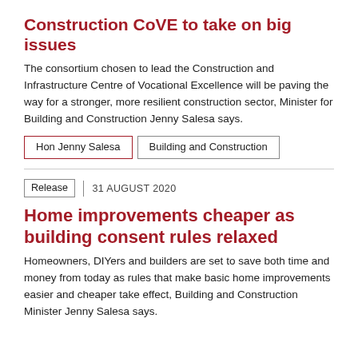Construction CoVE to take on big issues
The consortium chosen to lead the Construction and Infrastructure Centre of Vocational Excellence will be paving the way for a stronger, more resilient construction sector, Minister for Building and Construction Jenny Salesa says.
Hon Jenny Salesa | Building and Construction
Release | 31 AUGUST 2020
Home improvements cheaper as building consent rules relaxed
Homeowners, DIYers and builders are set to save both time and money from today as rules that make basic home improvements easier and cheaper take effect, Building and Construction Minister Jenny Salesa says.